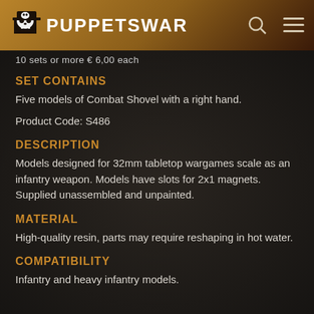PUPPETSWAR
10 sets or more € 6,00 each
SET CONTAINS
Five models of Combat Shovel with a right hand.
Product Code: S486
DESCRIPTION
Models designed for 32mm tabletop wargames scale as an infantry weapon. Models have slots for 2x1 magnets. Supplied unassembled and unpainted.
MATERIAL
High-quality resin, parts may require reshaping in hot water.
COMPATIBILITY
Infantry and heavy infantry models.